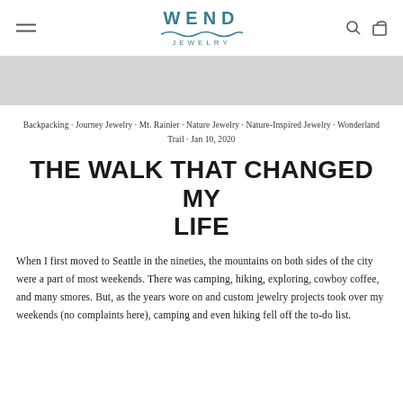WEND JEWELRY
Backpacking · Journey Jewelry · Mt. Rainier · Nature Jewelry · Nature-Inspired Jewelry · Wonderland Trail · Jan 10, 2020
THE WALK THAT CHANGED MY LIFE
When I first moved to Seattle in the nineties, the mountains on both sides of the city were a part of most weekends. There was camping, hiking, exploring, cowboy coffee, and many smores. But, as the years wore on and custom jewelry projects took over my weekends (no complaints here), camping and even hiking fell off the to-do list.